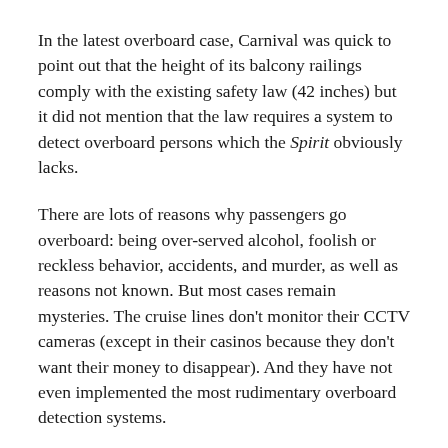In the latest overboard case, Carnival was quick to point out that the height of its balcony railings comply with the existing safety law (42 inches) but it did not mention that the law requires a system to detect overboard persons which the Spirit obviously lacks.
There are lots of reasons why passengers go overboard: being over-served alcohol, foolish or reckless behavior, accidents, and murder, as well as reasons not known. But most cases remain mysteries. The cruise lines don't monitor their CCTV cameras (except in their casinos because they don't want their money to disappear). And they have not even implemented the most rudimentary overboard detection systems.
The result is no rescue or delayed rescue attempts which